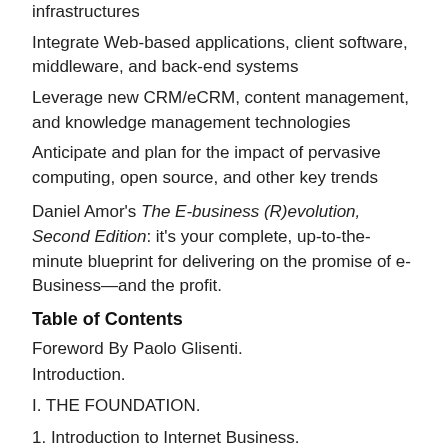infrastructures
Integrate Web-based applications, client software, middleware, and back-end systems
Leverage new CRM/eCRM, content management, and knowledge management technologies
Anticipate and plan for the impact of pervasive computing, open source, and other key trends
Daniel Amor's The E-business (R)evolution, Second Edition: it's your complete, up-to-the-minute blueprint for delivering on the promise of e-Business—and the profit.
Table of Contents
Foreword By Paolo Glisenti.
Introduction.
I. THE FOUNDATION.
1. Introduction to Internet Business.